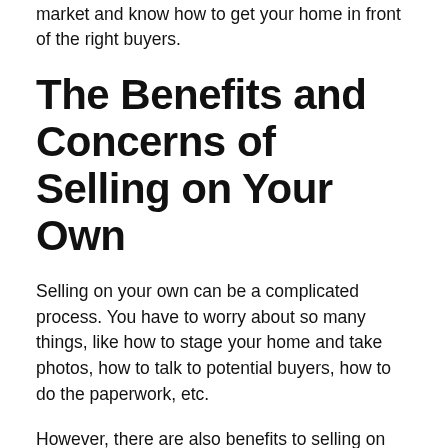market and know how to get your home in front of the right buyers.
The Benefits and Concerns of Selling on Your Own
Selling on your own can be a complicated process. You have to worry about so many things, like how to stage your home and take photos, how to talk to potential buyers, how to do the paperwork, etc.
However, there are also benefits to selling on your own. The most obvious benefit is that you don't have to pay a realtor's commission. This can save you thousands of dollars.
Another benefit is that you have more control over